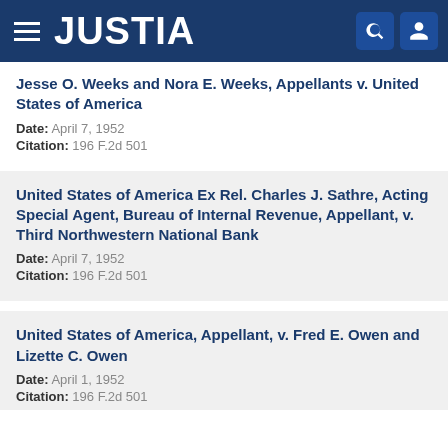JUSTIA
Jesse O. Weeks and Nora E. Weeks, Appellants v. United States of America
Date: April 7, 1952
Citation: 196 F.2d 501
United States of America Ex Rel. Charles J. Sathre, Acting Special Agent, Bureau of Internal Revenue, Appellant, v. Third Northwestern National Bank
Date: April 7, 1952
Citation: 196 F.2d 501
United States of America, Appellant, v. Fred E. Owen and Lizette C. Owen
Date: April 1, 1952
Citation: 196 F.2d 501